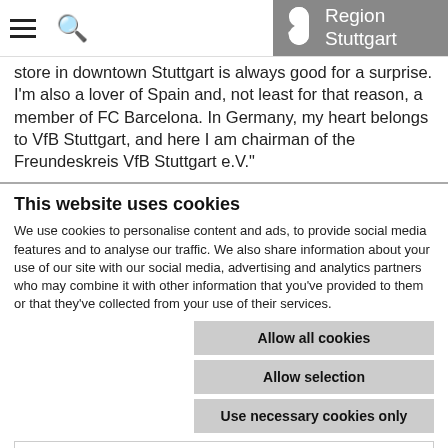Region Stuttgart
store in downtown Stuttgart is always good for a surprise. I'm also a lover of Spain and, not least for that reason, a member of FC Barcelona. In Germany, my heart belongs to VfB Stuttgart, and here I am chairman of the Freundeskreis VfB Stuttgart e.V."
This website uses cookies
We use cookies to personalise content and ads, to provide social media features and to analyse our traffic. We also share information about your use of our site with our social media, advertising and analytics partners who may combine it with other information that you've provided to them or that they've collected from your use of their services.
Allow all cookies
Allow selection
Use necessary cookies only
Necessary  Preferences  Statistics  Marketing  Show details